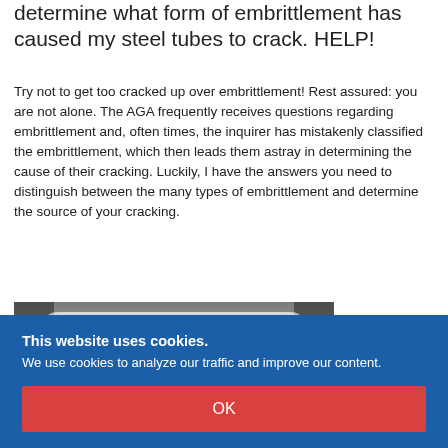determine what form of embrittlement has caused my steel tubes to crack. HELP!
Try not to get too cracked up over embrittlement! Rest assured: you are not alone. The AGA frequently receives questions regarding embrittlement and, often times, the inquirer has mistakenly classified the embrittlement, which then leads them astray in determining the cause of their cracking. Luckily, I have the answers you need to distinguish between the many types of embrittlement and determine the source of your cracking.
[Figure (photo): Black and white photograph of a cracked steel tube cross-section showing embrittlement cracking at the corners and along the seam of a rectangular steel tube.]
This website uses cookies.
We use cookies to analyze our traffic and improve our content.
OK